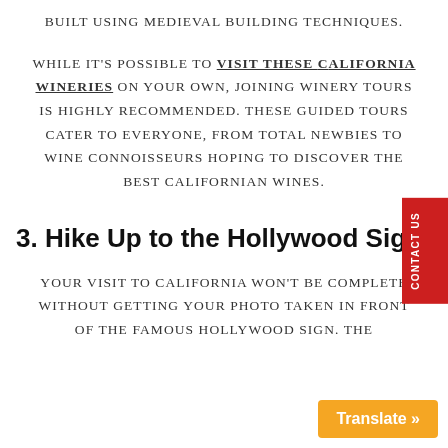BUILT USING MEDIEVAL BUILDING TECHNIQUES.
While it's possible to VISIT THESE CALIFORNIA WINERIES on your own, joining winery tours is highly recommended. These guided tours cater to everyone, from total newbies to wine connoisseurs hoping to discover the best Californian wines.
3. Hike Up to the Hollywood Sign
Your visit to California won't be complete without getting your photo taken in front of the famous Hollywood Sign. The...